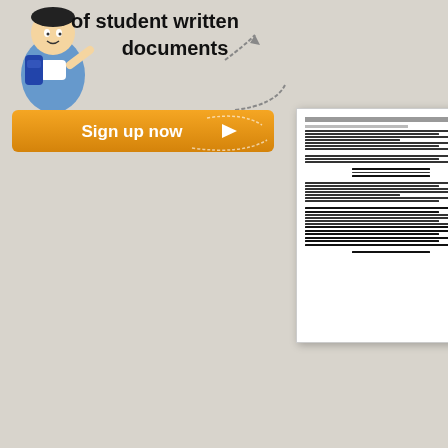[Figure (illustration): Cartoon student illustration with backpack, blue and white outfit, with text 'of student written documents' above]
of student written
documents
[Figure (illustration): Orange 'Sign up now' button with arrow]
[Figure (screenshot): Thumbnail of a student essay document]
Eliza
alte
sym
As thi
assign
behav
comp
of he
Romn
"We g
wife a
which
Wor
[Figure (screenshot): Thumbnail of a second student essay document - Chr]
Chr
Any m
who t
The r
who s